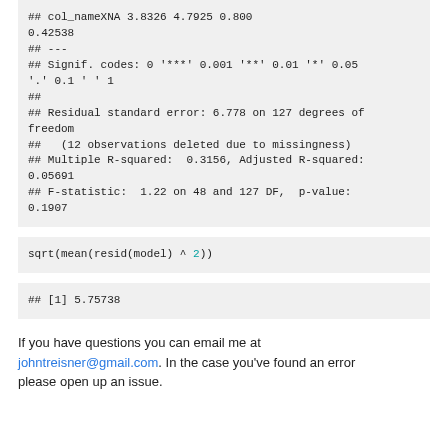## col_nameXNA        3.8326     4.7925    0.800
0.42538
## ---
## Signif. codes:  0 '***' 0.001 '**' 0.01 '*' 0.05
'.' 0.1 ' ' 1
##
## Residual standard error: 6.778 on 127 degrees of
freedom
##    (12 observations deleted due to missingness)
## Multiple R-squared:  0.3156, Adjusted R-squared:
0.05691
## F-statistic:  1.22 on 48 and 127 DF,  p-value:
0.1907
sqrt(mean(resid(model) ^ 2))
## [1] 5.75738
If you have questions you can email me at johntreisner@gmail.com. In the case you've found an error please open up an issue.